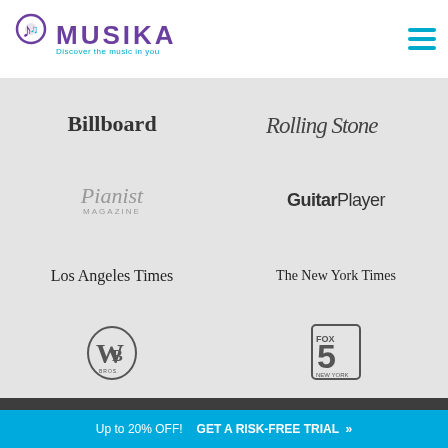[Figure (logo): Musika logo with music note icon, purple MUSIKA text, and cyan tagline 'Discover the music in you']
[Figure (infographic): Grid of media publication logos: Billboard, Rolling Stone, Pianist Magazine, Guitar Player, Los Angeles Times, The New York Times, Warner Bros logo, Fox 5 logo]
Contact Us
Need Help Finding a Teacher?
Call now 877-687-4524 or
GET STARTED
[Figure (infographic): Social media icons: Facebook, Twitter, LinkedIn, Pinterest, Tumblr]
Up to 20% OFF!  GET A RISK-FREE TRIAL »